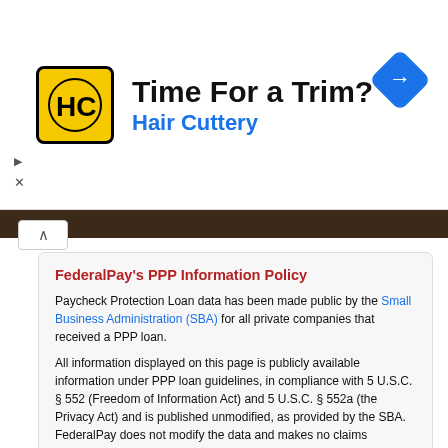[Figure (logo): Hair Cuttery advertisement banner with HC logo, 'Time For a Trim?' headline and blue 'Hair Cuttery' subtext, plus a blue navigation diamond icon on the right]
FederalPay's PPP Information Policy
Paycheck Protection Loan data has been made public by the Small Business Administration (SBA) for all private companies that received a PPP loan.
All information displayed on this page is publicly available information under PPP loan guidelines, in compliance with 5 U.S.C. § 552 (Freedom of Information Act) and 5 U.S.C. § 552a (the Privacy Act) and is published unmodified, as provided by the SBA. FederalPay does not modify the data and makes no claims regarding its accuracy.
Any corrections or modifications to this data can only be made via the SBA. For more information, please see the FederalPay PPP Data Policy.